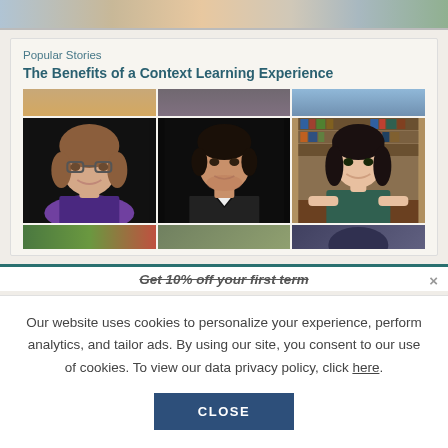[Figure (photo): Partial top strip of a photo showing people in a classroom or educational setting]
Popular Stories
The Benefits of a Context Learning Experience
[Figure (photo): 3x3 grid of portrait photos featuring: a woman with glasses and purple scarf, a man in a suit against dark background, a young woman in a library. Partial rows above and below.]
Get 10% off your first term
Our website uses cookies to personalize your experience, perform analytics, and tailor ads. By using our site, you consent to our use of cookies. To view our data privacy policy, click here.
CLOSE